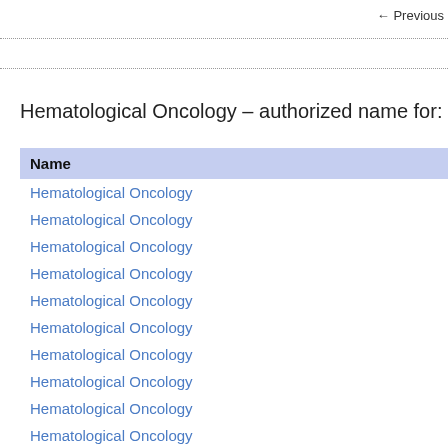← Previous
Hematological Oncology – authorized name for:
| Name |
| --- |
| Hematological Oncology |
| Hematological Oncology |
| Hematological Oncology |
| Hematological Oncology |
| Hematological Oncology |
| Hematological Oncology |
| Hematological Oncology |
| Hematological Oncology |
| Hematological Oncology |
| Hematological Oncology |